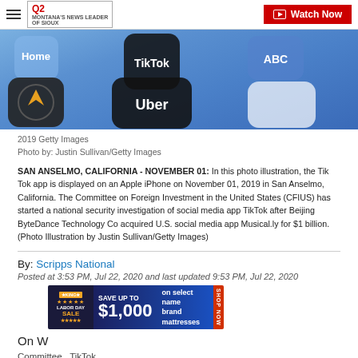Q2 MONTANA'S NEWS LEADER | Watch Now
[Figure (photo): Close-up photo of a smartphone screen showing app icons including TikTok, Home, Uber, and ABC on a blue background]
2019 Getty Images
Photo by: Justin Sullivan/Getty Images
SAN ANSELMO, CALIFORNIA - NOVEMBER 01: In this photo illustration, the Tik Tok app is displayed on an Apple iPhone on November 01, 2019 in San Anselmo, California. The Committee on Foreign Investment in the United States (CFIUS) has started a national security investigation of social media app TikTok after Beijing ByteDance Technology Co acquired U.S. social media app Musical.ly for $1 billion. (Photo Illustration by Justin Sullivan/Getty Images)
By: Scripps National
Posted at 3:53 PM, Jul 22, 2020 and last updated 9:53 PM, Jul 22, 2020
[Figure (other): Labor Day Sale advertisement banner - Save up to $1,000 on select name brand mattresses - Shop Now]
On W
Committee...TikTok...